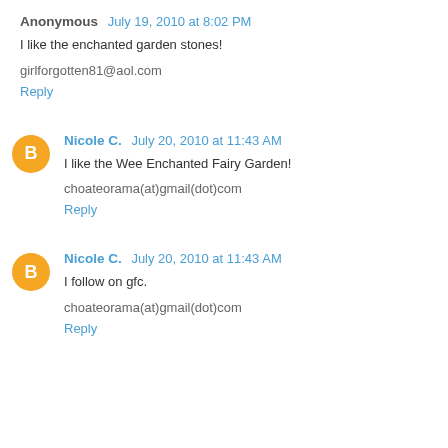Anonymous  July 19, 2010 at 8:02 PM
I like the enchanted garden stones!
girlforgotten81@aol.com
Reply
Nicole C.  July 20, 2010 at 11:43 AM
I like the Wee Enchanted Fairy Garden!
choateorama(at)gmail(dot)com
Reply
Nicole C.  July 20, 2010 at 11:43 AM
I follow on gfc.
choateorama(at)gmail(dot)com
Reply